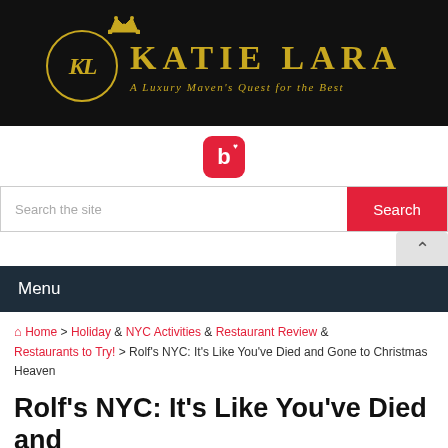[Figure (logo): Katie Lara blog logo — gold KL monogram with crown on black background, text KATIE LARA and tagline A Luxury Maven's Quest for the Best]
[Figure (logo): Bloglovin icon — red rounded square with white b and heart]
Search the site
Menu
Home > Holiday & NYC Activities & Restaurant Review & Restaurants to Try! > Rolf's NYC: It's Like You've Died and Gone to Christmas Heaven
Rolf's NYC: It's Like You've Died and